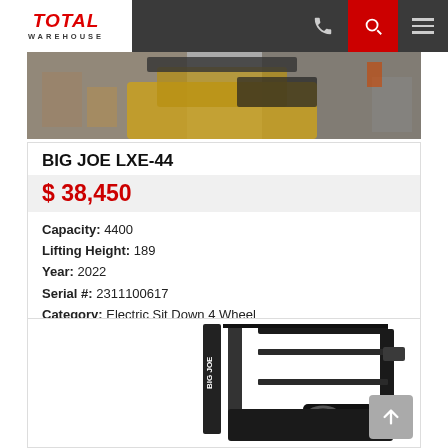[Figure (logo): Total Warehouse logo - red bold italic text on white background]
[Figure (photo): Forklift top-down/rear view in warehouse setting, yellow forklift visible]
BIG JOE LXE-44
$ 38,450
Capacity: 4400
Lifting Height: 189
Year: 2022
Serial #: 2311100617
Category: Electric Sit Down 4 Wheel
Location: Las-Re
[Figure (photo): Big Joe forklift product photo on white background, black electric sit-down forklift with mast and overhead guard visible]